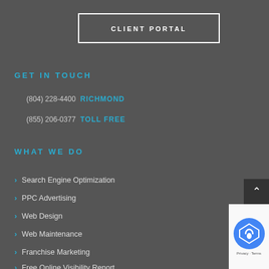CLIENT PORTAL
GET IN TOUCH
(804) 228-4400 RICHMOND
(855) 206-0377 TOLL FREE
WHAT WE DO
Search Engine Optimization
PPC Advertising
Web Design
Web Maintenance
Franchise Marketing
Free Online Visibility Report